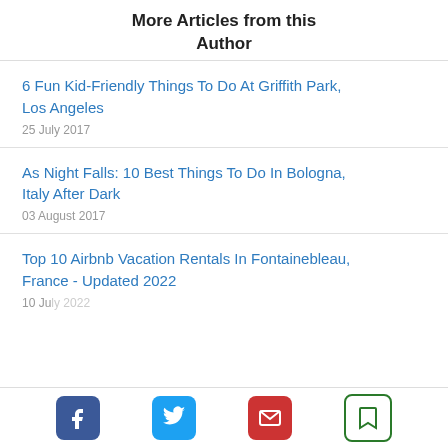More Articles from this Author
6 Fun Kid-Friendly Things To Do At Griffith Park, Los Angeles
25 July 2017
As Night Falls: 10 Best Things To Do In Bologna, Italy After Dark
03 August 2017
Top 10 Airbnb Vacation Rentals In Fontainebleau, France - Updated 2022
10 July 2022